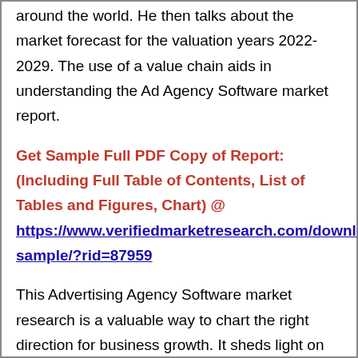around the world. He then talks about the market forecast for the valuation years 2022-2029. The use of a value chain aids in understanding the Ad Agency Software market report.
Get Sample Full PDF Copy of Report: (Including Full Table of Contents, List of Tables and Figures, Chart) @ https://www.verifiedmarketresearch.com/download-sample/?rid=87959
This Advertising Agency Software market research is a valuable way to chart the right direction for business growth. It sheds light on the key dynamics influencing business growth. It also